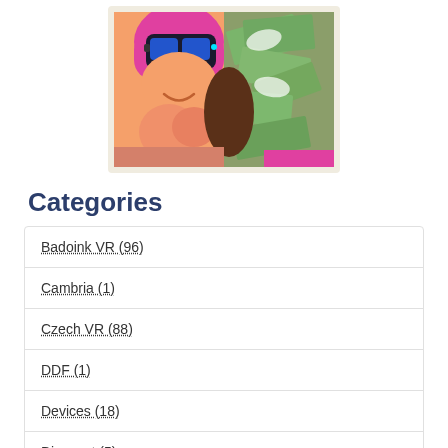[Figure (illustration): Cartoon/illustration image showing an animated character with pink hair wearing VR goggles, alongside money bills, with a split composition]
Categories
Badoink VR (96)
Cambria (1)
Czech VR (88)
DDF (1)
Devices (18)
Discount (5)
Featured Horny (14)